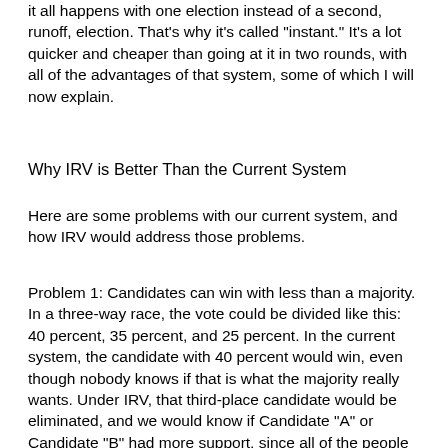it all happens with one election instead of a second, runoff, election. That's why it's called "instant." It's a lot quicker and cheaper than going at it in two rounds, with all of the advantages of that system, some of which I will now explain.
Why IRV is Better Than the Current System
Here are some problems with our current system, and how IRV would address those problems.
Problem 1: Candidates can win with less than a majority. In a three-way race, the vote could be divided like this: 40 percent, 35 percent, and 25 percent. In the current system, the candidate with 40 percent would win, even though nobody knows if that is what the majority really wants. Under IRV, that third-place candidate would be eliminated, and we would know if Candidate "A" or Candidate "B" had more support, since all of the people who voted for the losing candidate would have said who their "second choice" was. That's not so